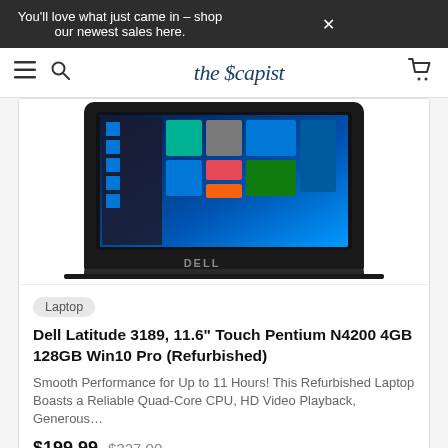You'll love what just came in – shop our newest sales here.
the Escapist
[Figure (photo): Dell laptop (Latitude 3189) open, showing Windows 10 Start screen on display, viewed from front-above angle. Black chassis with keyboard visible.]
Laptop
Dell Latitude 3189, 11.6" Touch Pentium N4200 4GB 128GB Win10 Pro (Refurbished)
Smooth Performance for Up to 11 Hours! This Refurbished Laptop Boasts a Reliable Quad-Core CPU, HD Video Playback, Generous…
$199.99  $327.00